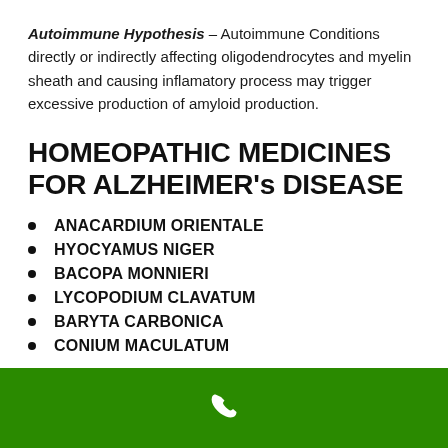Autoimmune Hypothesis – Autoimmune Conditions directly or indirectly affecting oligodendrocytes and myelin sheath and causing inflamatory process may trigger excessive production of amyloid production.
HOMEOPATHIC MEDICINES FOR ALZHEIMER's DISEASE
ANACARDIUM ORIENTALE
HYOCYAMUS NIGER
BACOPA MONNIERI
LYCOPODIUM CLAVATUM
BARYTA CARBONICA
CONIUM MACULATUM
[phone icon]